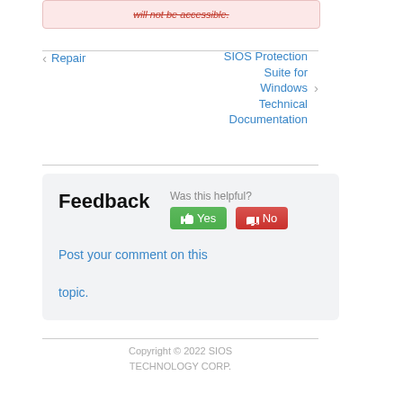will not be accessible.
◀ Repair   SIOS Protection Suite for Windows Technical Documentation ▶
Feedback  Was this helpful? Yes No  Post your comment on this topic.
Copyright © 2022 SIOS TECHNOLOGY CORP.